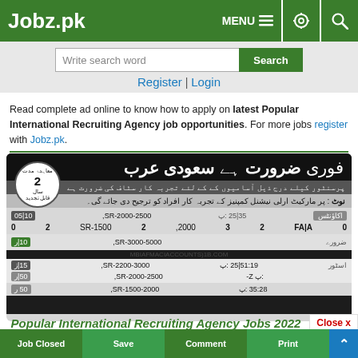Jobz.pk | MENU
Write search word | Search | Register | Login
Read complete ad online to know how to apply on latest Popular International Recruiting Agency job opportunities. For more jobs register with Jobz.pk.
[Figure (screenshot): Job advertisement in Urdu for Saudi Arabia with job listings table, social sharing buttons, and action buttons]
Popular International Recruiting Agency Jobs 2022 In KSA
Close x
Share | WhatsApp | Tweet | Share | Pin | Email
Job Closed | Save | Comment | Print